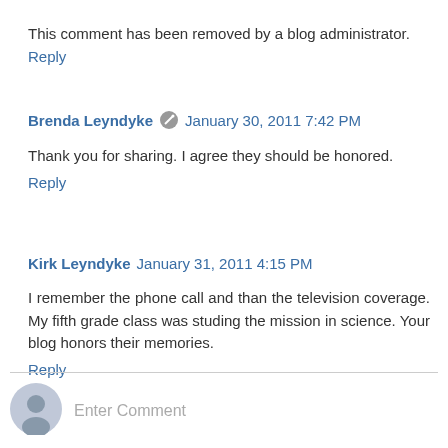This comment has been removed by a blog administrator.
Reply
Brenda Leyndyke  January 30, 2011 7:42 PM
Thank you for sharing. I agree they should be honored.
Reply
Kirk Leyndyke  January 31, 2011 4:15 PM
I remember the phone call and than the television coverage. My fifth grade class was studing the mission in science. Your blog honors their memories.
Reply
Enter Comment